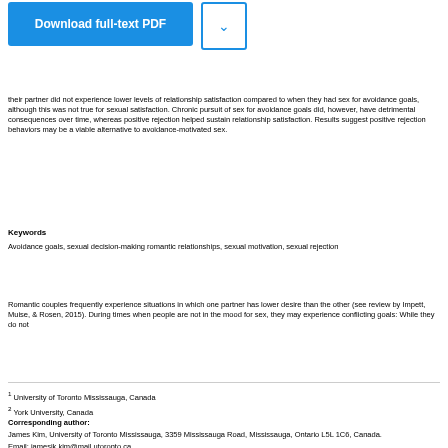[Figure (other): Download full-text PDF button (blue) and dropdown arrow button]
their partner did not experience lower levels of relationship satisfaction compared to when they had sex for avoidance goals, although this was not true for sexual satisfaction. Chronic pursuit of sex for avoidance goals did, however, have detrimental consequences over time, whereas positive rejection helped sustain relationship satisfaction. Results suggest positive rejection behaviors may be a viable alternative to avoidance-motivated sex.
Keywords
Avoidance goals, sexual decision-making romantic relationships, sexual motivation, sexual rejection
Romantic couples frequently experience situations in which one partner has lower desire than the other (see review by Impett, Muise, & Rosen, 2015). During times when people are not in the mood for sex, they may experience conflicting goals: While they do not
1 University of Toronto Mississauga, Canada
2 York University, Canada
Corresponding author:
James Kim, University of Toronto Mississauga, 3359 Mississauga Road, Mississauga, Ontario L5L 1C6, Canada.
Email: jamesjk.kim@mail.utoronto.ca